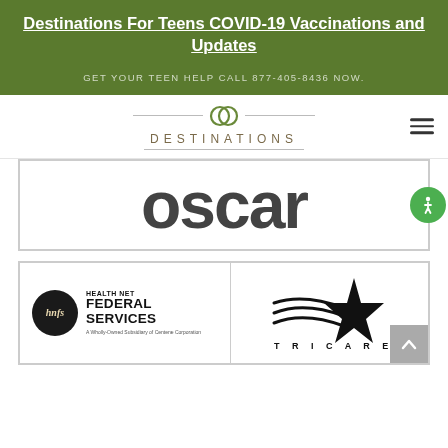Destinations For Teens COVID-19 Vaccinations and Updates
GET YOUR TEEN HELP CALL 877-405-8436 NOW.
[Figure (logo): Destinations logo with two interlocking circles and text 'DESTINATIONS' below horizontal rules]
[Figure (logo): Oscar health insurance logo - large bold text reading 'oscar' in dark grey]
[Figure (logo): Health Net Federal Services (hnfs) logo with TRICARE logo - hnfs badge and text on left, TRICARE star logo on right]
[Figure (other): Green accessibility icon circle (wheelchair symbol) on right side]